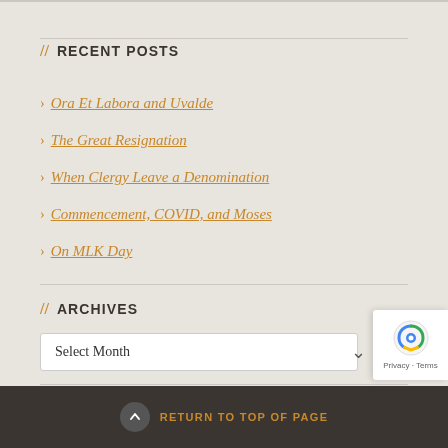// RECENT POSTS
Ora Et Labora and Uvalde
The Great Resignation
When Clergy Leave a Denomination
Commencement, COVID, and Moses
On MLK Day
// ARCHIVES
Select Month
RETURN TO TOP OF PAGE